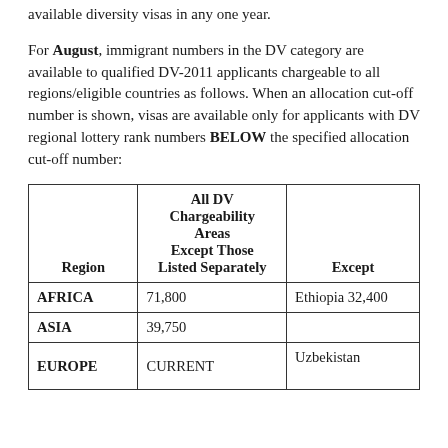available diversity visas in any one year.
For August, immigrant numbers in the DV category are available to qualified DV-2011 applicants chargeable to all regions/eligible countries as follows. When an allocation cut-off number is shown, visas are available only for applicants with DV regional lottery rank numbers BELOW the specified allocation cut-off number:
| Region | All DV Chargeability Areas Except Those Listed Separately | Except |
| --- | --- | --- |
| AFRICA | 71,800 | Ethiopia 32,400 |
| ASIA | 39,750 |  |
| EUROPE | CURRENT | Uzbekistan ... |